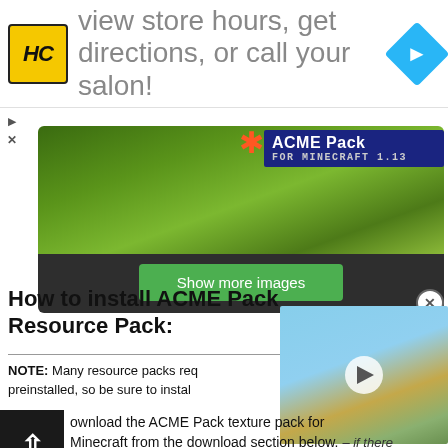[Figure (screenshot): Advertisement banner: HC logo (yellow square with HC text), ad text 'view store hours, get directions, or call your salon!' and blue navigation diamond icon]
[Figure (screenshot): Minecraft screenshot showing grass terrain with ACME Pack for Minecraft 1.13 badge overlay, with a 'Show more images' green button at bottom, on dark background]
How to install ACME Pack Resource Pack:
[Figure (screenshot): Video thumbnail showing Minecraft island scenes with play button overlay]
NOTE: Many resource packs req preinstalled, so be sure to instal
Download the ACME Pack texture pack for Minecraft from the download section below. – if there are many different versions, just pick the one that you like or that you think your PC can handle.